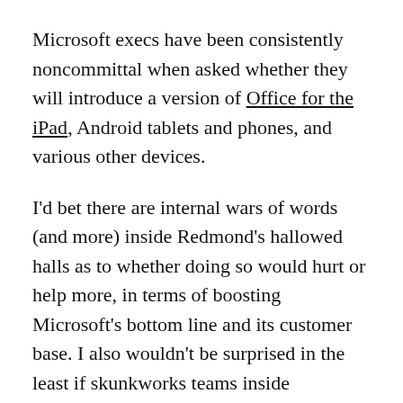Microsoft execs have been consistently noncommittal when asked whether they will introduce a version of Office for the iPad, Android tablets and phones, and various other devices.
I'd bet there are internal wars of words (and more) inside Redmond's hallowed halls as to whether doing so would hurt or help more, in terms of boosting Microsoft's bottom line and its customer base. I also wouldn't be surprised in the least if skunkworks teams inside Microsoft already are working on at least a few of these variants.
But if and until the Softies decide to deliver Office on new platforms and devices, the "best" way to get Office on more than just your Windows PC or Mac